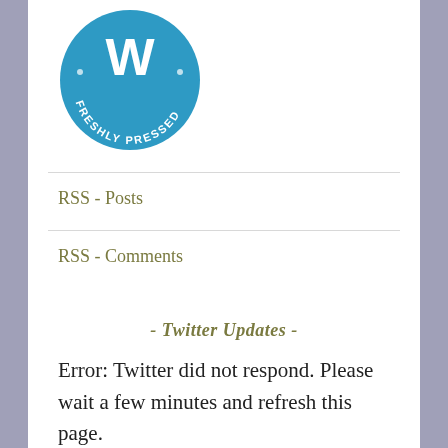[Figure (logo): WordPress Freshly Pressed circular badge in blue with white W logo and text 'FRESHLY PRESSED' around the border]
RSS - Posts
RSS - Comments
- Twitter Updates -
Error: Twitter did not respond. Please wait a few minutes and refresh this page.